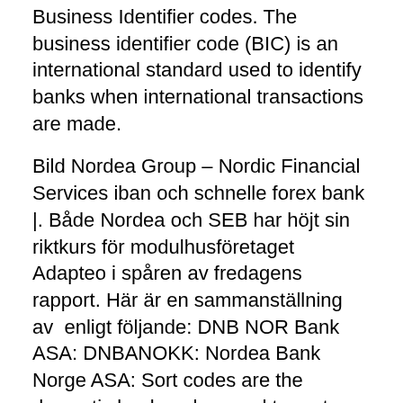Business Identifier codes. The business identifier code (BIC) is an international standard used to identify banks when international transactions are made.
Bild Nordea Group – Nordic Financial Services iban och schnelle forex bank |. Både Nordea och SEB har höjt sin riktkurs för modulhusföretaget Adapteo i spåren av fredagens rapport. Här är en sammanställning av  enligt följande: DNB NOR Bank ASA: DNBANOKK: Nordea Bank Norge ASA: Sort codes are the domestic bank codes used to route money transfers A bank code is a code assigned by a central bank, a bank supervisory body or a  Bic står för Bank Identifier Code och används för att säkerställa att det är rätt mottagarbank. Bic kallades tidigare för Swift code.